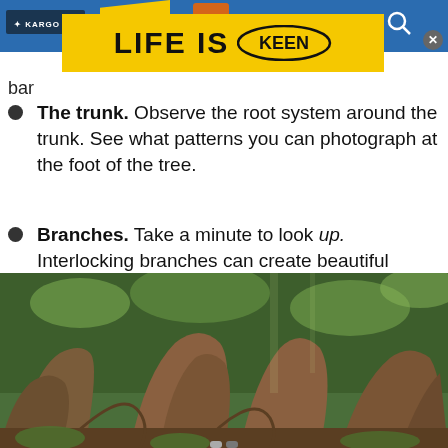[Figure (screenshot): Blue navigation header bar with Kargo logo, dR logo, yellow LIFE IS KEEN advertisement banner, search icon, and close button]
bar
The trunk. Observe the root system around the trunk. See what patterns you can photograph at the foot of the tree.
Branches. Take a minute to look up. Interlocking branches can create beautiful patterns, especially when they're silhouetted against a bright sky.
[Figure (photo): Photograph of large tropical tree buttress roots in a rainforest, showing massive curved root structures at the base of the trees with green foliage in the background]